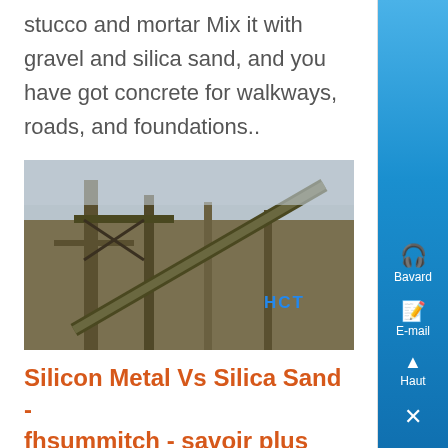stucco and mortar Mix it with gravel and silica sand, and you have got concrete for walkways, roads, and foundations..
[Figure (photo): Industrial crane or mining/processing facility structure photographed against a grey sky, with blue text label 'HCT' visible on the image.]
Silicon Metal Vs Silica Sand - fhsummitch - savoir plus
Silicon vs Silica vs Silicone l Silica gel l Desiccants Packaging Some of the silicon uses include its industrial application in constructions with silica sand, clays, and stone Portland cement uses silicates for stucco and mortar Mix it with gravel and silica sand, and you have got concrete for walkways, roads, and foundations..